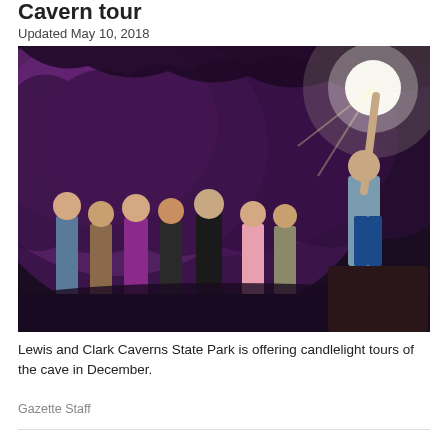Cavern tour
Updated May 10, 2018
[Figure (photo): Group of visitors standing inside a cave with purple-lit rock walls, guided by a tour guide holding a bright light aloft. Lewis and Clark Caverns State Park candlelight cave tour.]
Lewis and Clark Caverns State Park is offering candlelight tours of the cave in December.
Gazette Staff